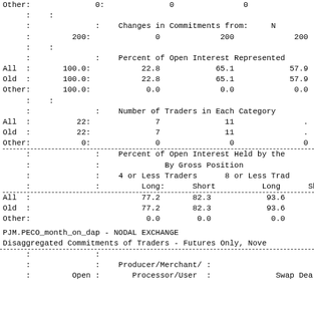| Other: | 0: | 0 | 0 | 0 |
| : | : |  |  |  |
| : | : | Changes in Commitments from: | N |
| : | 200: | 0 | 200 | 200 |
| : | : |  |  |  |
| : | : | Percent of Open Interest Represented |  |
| All : | 100.0: | 22.8 | 65.1 | 57.9 | 2 |
| Old : | 100.0: | 22.8 | 65.1 | 57.9 | 2 |
| Other: | 100.0: | 0.0 | 0.0 | 0.0 |
| : | : |  |  |  |
| : | : | Number of Traders in Each Category |  |
| All : | 22: | 7 | 11 | . |
| Old : | 22: | 7 | 11 | . |
| Other: | 0: | 0 | 0 | 0 |
|  |  | Percent of Open Interest Held by the |
|  |  | By Gross Position |
|  |  | 4 or Less Traders | 8 or Less Trad |
|  |  | Long: | Short | Long | Sh |
| All : |  | 77.2 | 82.3 | 93.6 | 9 |
| Old : |  | 77.2 | 82.3 | 93.6 | 9 |
| Other: |  | 0.0 | 0.0 | 0.0 |
PJM.PECO_month_on_dap - NODAL EXCHANGE
Disaggregated Commitments of Traders - Futures Only, Nove
|  |  | Producer/Merchant/ |  | Swap Dea |
| --- | --- | --- | --- | --- |
| : | : | : |  |  |
| : | Open | : | Processor/User | : | Swap Dea |